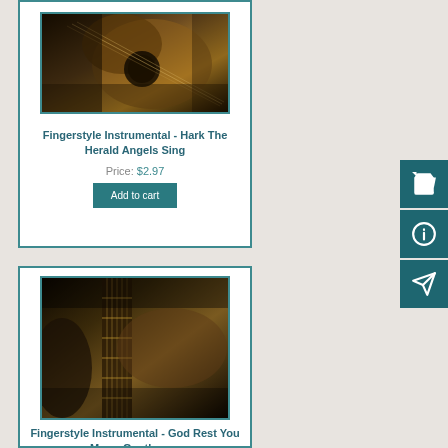[Figure (photo): Sepia-toned close-up photo of a guitar body and strings]
Fingerstyle Instrumental - Hark The Herald Angels Sing
Price: $2.97
[Figure (photo): Sepia-toned close-up photo of a hand playing fingerstyle guitar]
Fingerstyle Instrumental - God Rest You Merry Gentlemen